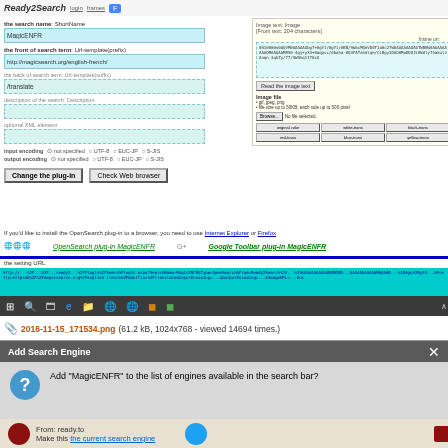[Figure (screenshot): Screenshot of Ready2Search web interface showing a form to configure a search plugin named MagicENFR with fields for search name, URL template prefix (http://magicsearch.org/english-french/), URL suffix (/translate), description, optional XML element, encoding options, and buttons. Right panel shows image text options. Below shows OpenSearch and Google Toolbar plugin links, a setting URL bar highlighted in teal, and a Windows 10 taskbar.]
2016-11-15_171534.png (61.2 kB, 1024x768 - viewed 14694 times.)
[Figure (screenshot): Dialog box titled 'Add Search Engine' asking 'Add "MagicENFR" to the list of engines available in the search bar?' with a blue question mark icon, and partial text 'From: ready.to' and 'Make this the current search engine' with social media icons at bottom.]